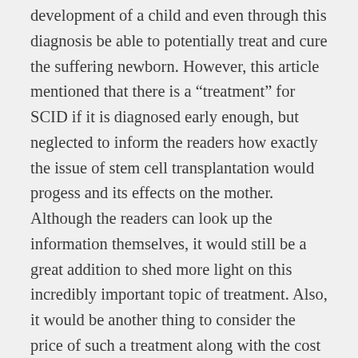development of a child and even through this diagnosis be able to potentially treat and cure the suffering newborn. However, this article mentioned that there is a “treatment” for SCID if it is diagnosed early enough, but neglected to inform the readers how exactly the issue of stem cell transplantation would progess and its effects on the mother. Although the readers can look up the information themselves, it would still be a great addition to shed more light on this incredibly important topic of treatment. Also, it would be another thing to consider the price of such a treatment along with the cost of the screening itself! Healthcare can be extremely expensive at times, and I am much for the continuation and enlargement of funds dedicated to helping those who need medical treatment. Not only that, but some hospitals may not screen for SCID and thus it should also be noted that increasing hospital participation for screening and treatment, as well increasing awareness of SCID